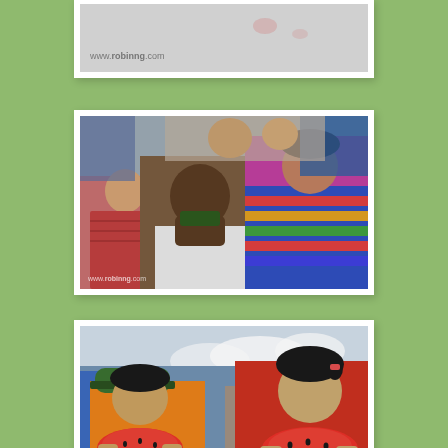[Figure (photo): Partially visible photo card at top showing a light gray background with watermark text 'www.robinng.com' in the lower left area and faint red/pink smudges]
[Figure (photo): Photo card showing a group of children and adults at an outdoor event. A young girl in the center is eating something, a toddler in a red dress sucks on a lollipop, and others with colorful clothing are visible behind. Watermark 'www.robinng.com' visible at bottom left.]
[Figure (photo): Photo card showing two children eating watermelon slices outdoors. A boy in an orange shirt on the left and a girl in a red top on the right, both biting into large watermelon wedges. Adults and crowd visible in the background.]